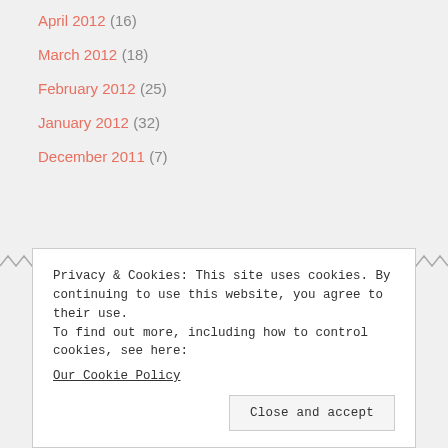April 2012 (16)
March 2012 (18)
February 2012 (25)
January 2012 (32)
December 2011 (7)
Privacy & Cookies: This site uses cookies. By continuing to use this website, you agree to their use.
To find out more, including how to control cookies, see here:
Our Cookie Policy
Close and accept